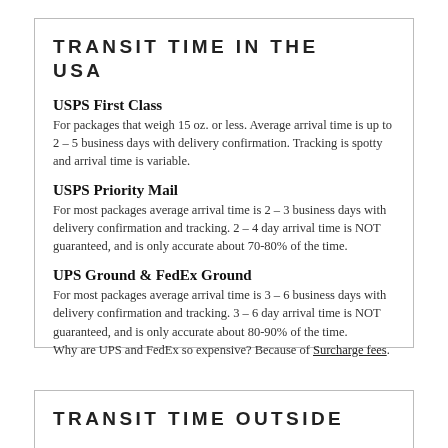TRANSIT TIME IN THE USA
USPS First Class
For packages that weigh 15 oz. or less. Average arrival time is up to 2 – 5 business days with delivery confirmation. Tracking is spotty and arrival time is variable.
USPS Priority Mail
For most packages average arrival time is 2 – 3 business days with delivery confirmation and tracking. 2 – 4 day arrival time is NOT guaranteed, and is only accurate about 70-80% of the time.
UPS Ground & FedEx Ground
For most packages average arrival time is 3 – 6 business days with delivery confirmation and tracking. 3 – 6 day arrival time is NOT guaranteed, and is only accurate about 80-90% of the time.
Why are UPS and FedEx so expensive? Because of Surcharge fees.
TRANSIT TIME OUTSIDE